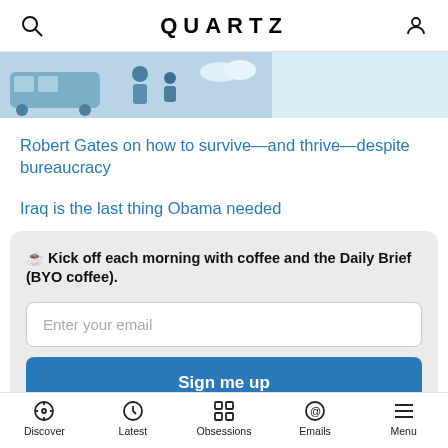QUARTZ
[Figure (illustration): Partial banner illustration with blue tones showing figures and objects]
Robert Gates on how to survive—and thrive—despite bureaucracy
Iraq is the last thing Obama needed
☕ Kick off each morning with coffee and the Daily Brief (BYO coffee).
Enter your email
Sign me up
Discover | Latest | Obsessions | Emails | Menu